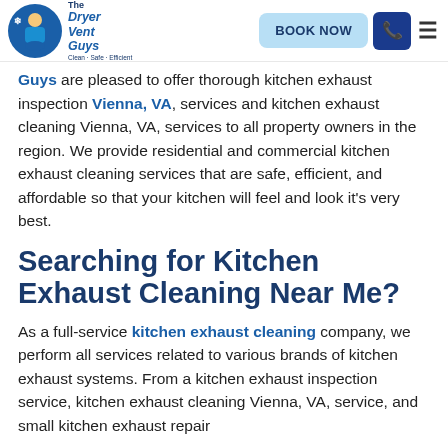The Dryer Vent Guys | BOOK NOW
Guys are pleased to offer thorough kitchen exhaust inspection Vienna, VA, services and kitchen exhaust cleaning Vienna, VA, services to all property owners in the region. We provide residential and commercial kitchen exhaust cleaning services that are safe, efficient, and affordable so that your kitchen will feel and look it’s very best.
Searching for Kitchen Exhaust Cleaning Near Me?
As a full-service kitchen exhaust cleaning company, we perform all services related to various brands of kitchen exhaust systems. From a kitchen exhaust inspection service, kitchen exhaust cleaning Vienna, VA, service, and small kitchen exhaust repair